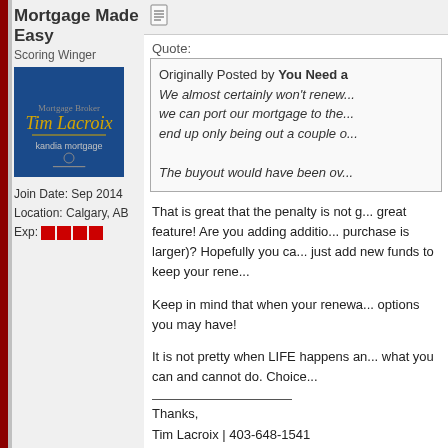Mortgage Made Easy
Scoring Winger
[Figure (photo): Avatar image with blue background showing Tim Lacroix mortgage broker branding]
Join Date: Sep 2014
Location: Calgary, AB
Exp: [4 red boxes]
Quote:
Originally Posted by You Need a... We almost certainly won't renew... we can port our mortgage to the... end up only being out a couple o...

The buyout would have been ov...
That is great that the penalty is not g... great feature! Are you adding additio... purchase is larger)? Hopefully you ca... just add new funds to keep your rene...
Keep in mind that when your renewa... options you may have!
It is not pretty when LIFE happens ar... what you can and cannot do. Choice...
Thanks,
Tim Lacroix | 403-648-1541
Mortgage. Made Easy Experts
Mortgage Connect
www.TimLacroix.com
If you have any questions please fee... calgarymusk@timlacroix.com